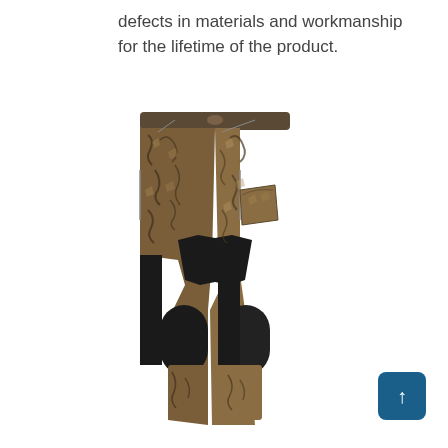defects in materials and workmanship for the lifetime of the product.
[Figure (photo): Rear view of hunting pants with camouflage (leaf/branch pattern in brown/tan/black) upper body and black reinforced knee panels, displayed flat against white background.]